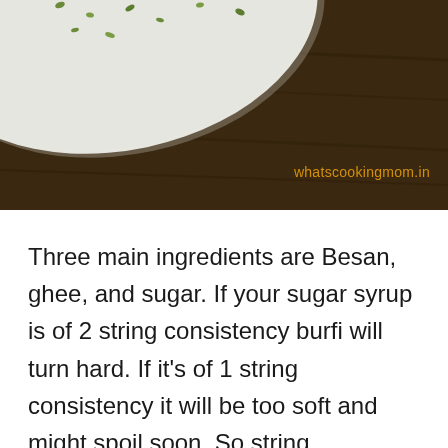[Figure (photo): Top portion of a food photo showing a white plate with green garnish (seeds/herbs) on a dark brown wooden background surface, with watermark 'whatscookingmom.in' in orange text]
Three main ingredients are Besan, ghee, and sugar. If your sugar syrup is of 2 string consistency burfi will turn hard. If it's of 1 string consistency it will be too soft and might spoil soon. So string consistency has to be a little more than 1 string but less than 2.